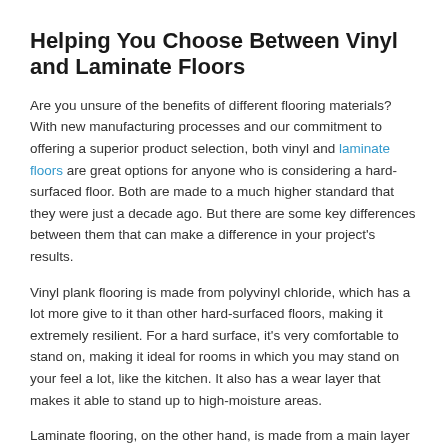Helping You Choose Between Vinyl and Laminate Floors
Are you unsure of the benefits of different flooring materials? With new manufacturing processes and our commitment to offering a superior product selection, both vinyl and laminate floors are great options for anyone who is considering a hard-surfaced floor. Both are made to a much higher standard that they were just a decade ago. But there are some key differences between them that can make a difference in your project's results.
Vinyl plank flooring is made from polyvinyl chloride, which has a lot more give to it than other hard-surfaced floors, making it extremely resilient. For a hard surface, it's very comfortable to stand on, making it ideal for rooms in which you may stand on your feel a lot, like the kitchen. It also has a wear layer that makes it able to stand up to high-moisture areas.
Laminate flooring, on the other hand, is made from a main layer of high-density fiberboard and smaller layers that are molded